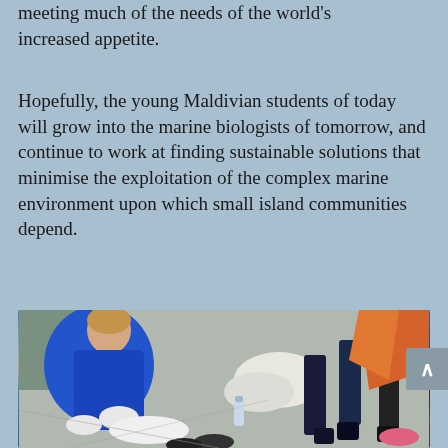meeting much of the needs of the world's increased appetite.
Hopefully, the young Maldivian students of today will grow into the marine biologists of tomorrow, and continue to work at finding sustainable solutions that minimise the exploitation of the complex marine environment upon which small island communities depend.
[Figure (photo): A woman in a blue polo shirt wearing white gloves examines something on the ground while people stand around her, some in formal dark attire. An orange fabric is visible in the background.]